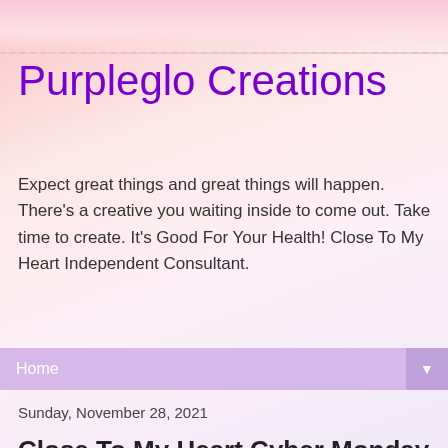Purpleglo Creations
Expect great things and great things will happen. There's a creative you waiting inside to come out. Take time to create. It's Good For Your Health! Close To My Heart Independent Consultant.
Home
Sunday, November 28, 2021
Close To My Heart Cyber Monday Sale
CTMH Cyber Monday Sale
Start Shopping - Click on Link above
Starts Monday, Nov 29 at 3 pm